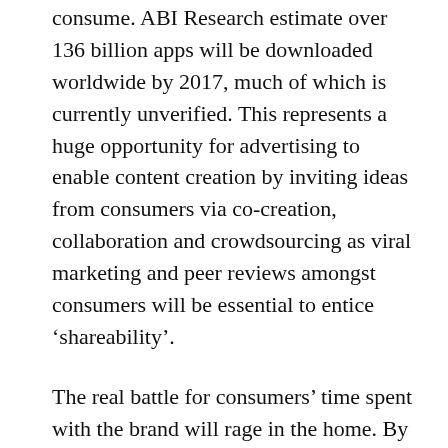consume. ABI Research estimate over 136 billion apps will be downloaded worldwide by 2017, much of which is currently unverified. This represents a huge opportunity for advertising to enable content creation by inviting ideas from consumers via co-creation, collaboration and crowdsourcing as viral marketing and peer reviews amongst consumers will be essential to entice ‘shareability’.
The real battle for consumers’ time spent with the brand will rage in the home. By 2020 consumers will enjoy over $1.5 trillion of global entertainment using superfast technology with wireless devices the dominant tool for business, entrepreneurship, and Internet